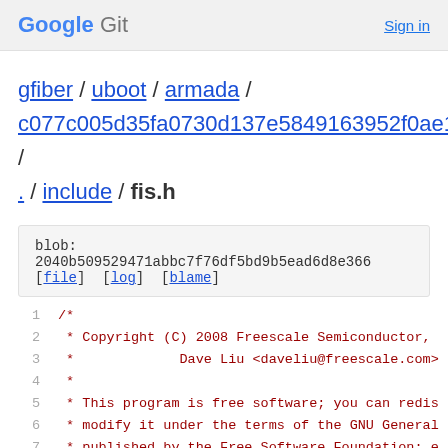Google Git  Sign in
gfiber / uboot / armada / c077c005d35fa0730d137e5849163952f0ae1539 / . / include / fis.h
blob: 2040b509529471abbc7f76df5bd9b5ead6d8e366
[file] [log] [blame]
1  /*
2   * Copyright (C) 2008 Freescale Semiconductor,
3   *             Dave Liu <daveliu@freescale.com>
4   *
5   * This program is free software; you can redis
6   * modify it under the terms of the GNU General
7   * published by the Free Software Foundation; e
8   * the License, or (at your option) any later v
9   *
10  * This program is distributed in the hope that